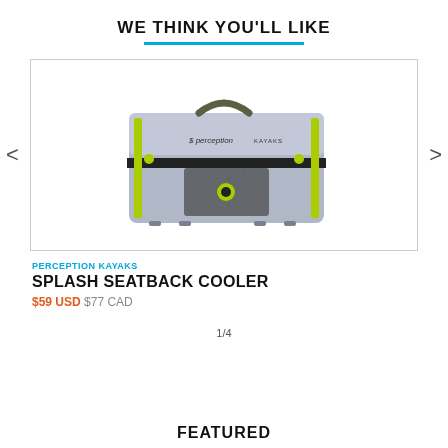WE THINK YOU'LL LIKE
[Figure (photo): Perception Kayaks Splash Seatback Cooler — a grey rectangular soft-sided cooler bag with yellow-green accent straps and zipper pulls, black handles on top, mesh pocket on front, shown on white background]
PERCEPTION KAYAKS
SPLASH SEATBACK COOLER
$59 USD $77 CAD
1/4
FEATURED